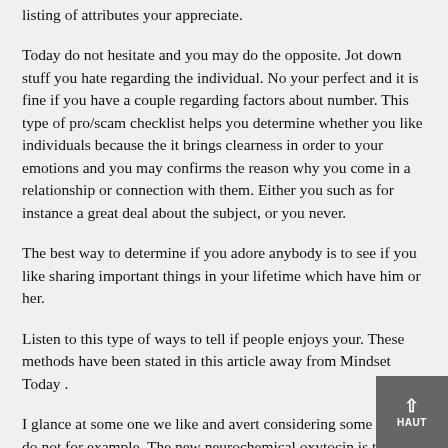listing of attributes your appreciate.
Today do not hesitate and you may do the opposite. Jot down stuff you hate regarding the individual. No your perfect and it is fine if you have a couple regarding factors about number. This type of pro/scam checklist helps you determine whether you like individuals because the it brings clearness in order to your emotions and you may confirms the reason why you come in a relationship or connection with them. Either you such as for instance a great deal about the subject, or you never.
The best way to determine if you adore anybody is to see if you like sharing important things in your lifetime which have him or her.
Listen to this type of ways to tell if people enjoys your. These methods have been stated in this article away from Mindset Today .
I glance at some one we like and avert considering some body do not for example. The new neurochemical oxytocin is the cause of improved visual communication, since the raised oxytocin membership boost eyes observance and provide a sense from welfare, hence improves common destination. Oxytocin along with grows college student dilation, which represents attraction. New wider this new dilation, the greater amount of notice some one be for the each other.
Anyone usually contact anyone that they like. Within the intimate dance ladies could possibly get softly touch the fresh new arm of the individual he is chatting with. This light touching should not be misleading given that